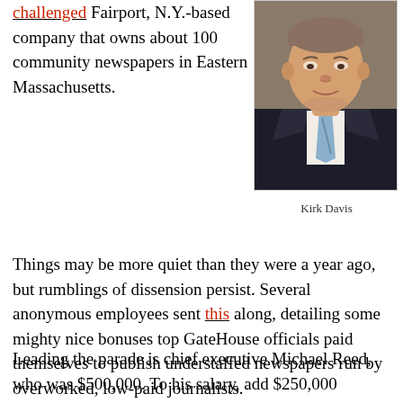challenged Fairport, N.Y.-based company that owns about 100 community newspapers in Eastern Massachusetts.
[Figure (photo): Headshot of Kirk Davis, a man in a dark suit with a blue tie and white shirt]
Kirk Davis
Things may be more quiet than they were a year ago, but rumblings of dissension persist. Several anonymous employees sent this along, detailing some mighty nice bonuses top GateHouse officials paid themselves to publish understaffed newspapers run by overworked, low-paid journalists.
Leading the parade is chief executive Michael Reed, who was $500,000. To his salary, add $250,000